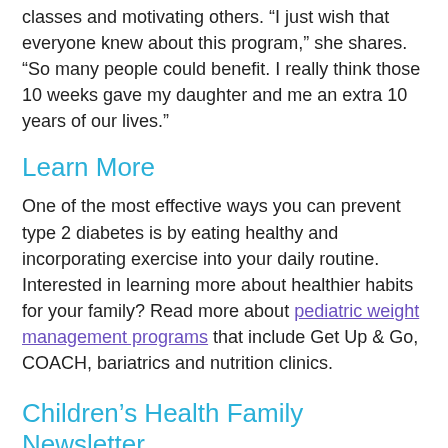classes and motivating others. “I just wish that everyone knew about this program,” she shares. “So many people could benefit. I really think those 10 weeks gave my daughter and me an extra 10 years of our lives.”
Learn More
One of the most effective ways you can prevent type 2 diabetes is by eating healthy and incorporating exercise into your daily routine. Interested in learning more about healthier habits for your family? Read more about pediatric weight management programs that include Get Up & Go, COACH, bariatrics and nutrition clinics.
Children’s Health Family Newsletter
Get health tips and parenting advice from Children’s Health experts sent straight to your inbox twice a month. Sign up now.